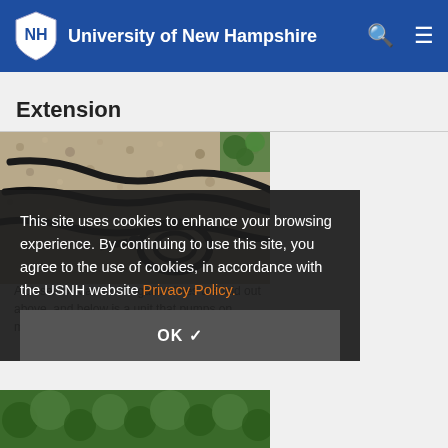University of New Hampshire
Extension
[Figure (photo): Black drip irrigation hoses on gravel ground, aerial/top-down view]
This site uses cookies to enhance your browsing experience. By continuing to use this site, you agree to the use of cookies, in accordance with the USNH website Privacy Policy.
OK ✓
A closer look at how irrigation lines are laid out above, and below is a unit that pumps on materials.
[Figure (photo): Green leafy plants, partial view at bottom of page]